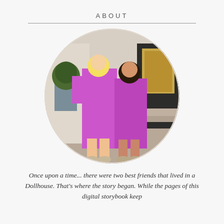ABOUT
[Figure (photo): Two women wearing matching purple/pink sparkly dresses posing together outdoors in front of a building with a large potted tree in the background.]
Once upon a time... there were two best friends that lived in a Dollhouse. That's where the story began. While the pages of this digital storybook keep